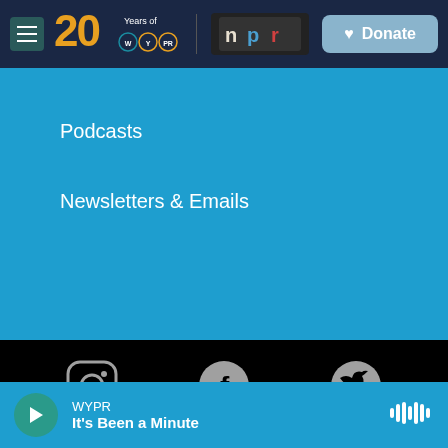[Figure (screenshot): WYPR 20 Years navigation header with hamburger menu, WYPR 20th anniversary logo, NPR logo, and Donate button on dark navy background]
Podcasts
Newsletters & Emails
[Figure (screenshot): Social media icons: Instagram, Facebook, Twitter; Partner logos: PRX, Charity Navigator Four Star Charity, YouTube; American Public Media logo on black background]
[Figure (screenshot): Audio player bar showing WYPR - It's Been a Minute with play button and waveform icon]